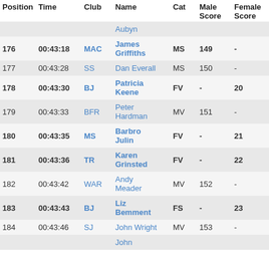| Position | Time | Club | Name | Cat | Male Score | Female Score | Comment |
| --- | --- | --- | --- | --- | --- | --- | --- |
|  |  |  | Aubyn |  |  |  |  |
| 176 | 00:43:18 | MAC | James Griffiths | MS | 149 | - |  |
| 177 | 00:43:28 | SS | Dan Everall | MS | 150 | - |  |
| 178 | 00:43:30 | BJ | Patricia Keene | FV | - | 20 |  |
| 179 | 00:43:33 | BFR | Peter Hardman | MV | 151 | - |  |
| 180 | 00:43:35 | MS | Barbro Julin | FV | - | 21 |  |
| 181 | 00:43:36 | TR | Karen Grinsted | FV | - | 22 |  |
| 182 | 00:43:42 | WAR | Andy Meader | MV | 152 | - |  |
| 183 | 00:43:43 | BJ | Liz Bemment | FS | - | 23 |  |
| 184 | 00:43:46 | SJ | John Wright | MV | 153 | - |  |
|  |  |  | John |  |  |  |  |